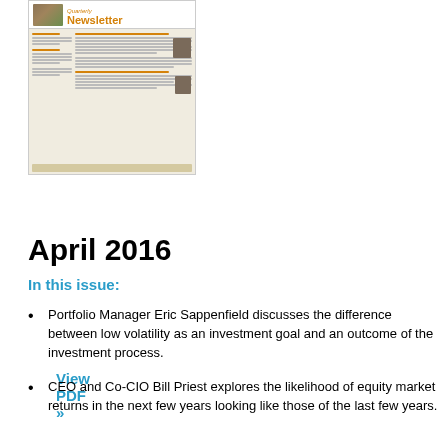[Figure (illustration): Thumbnail preview of a Quarterly Newsletter PDF, showing a landscape photo header with 'Quarterly Newsletter' title in orange, and body text columns with headshots.]
View PDF »
April 2016
In this issue:
Portfolio Manager Eric Sappenfield discusses the difference between low volatility as an investment goal and an outcome of the investment process.
CEO and Co-CIO Bill Priest explores the likelihood of equity market returns in the next few years looking like those of the last few years.
More at the latest issue, not yet fully visible...